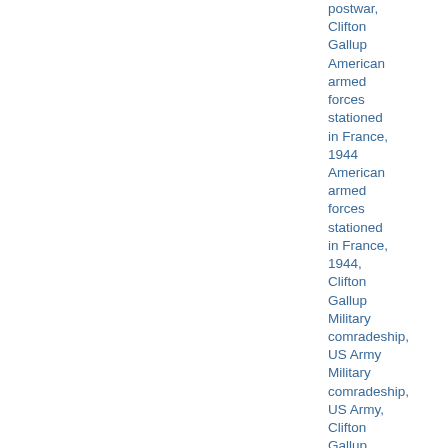postwar, Clifton Gallup American armed forces stationed in France, 1944 American armed forces stationed in France, 1944, Clifton Gallup Military comradeship, US Army Military comradeship, US Army, Clifton Gallup Documents in English language Narratives in English language France